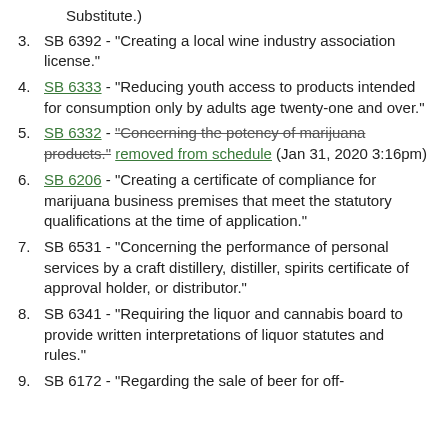Substitute.)
3. SB 6392 - "Creating a local wine industry association license."
4. SB 6333 - "Reducing youth access to products intended for consumption only by adults age twenty-one and over."
5. SB 6332 - "Concerning the potency of marijuana products." removed from schedule (Jan 31, 2020 3:16pm)
6. SB 6206 - "Creating a certificate of compliance for marijuana business premises that meet the statutory qualifications at the time of application."
7. SB 6531 - "Concerning the performance of personal services by a craft distillery, distiller, spirits certificate of approval holder, or distributor."
8. SB 6341 - "Requiring the liquor and cannabis board to provide written interpretations of liquor statutes and rules."
9. SB 6172 - "Regarding the sale of beer for off-